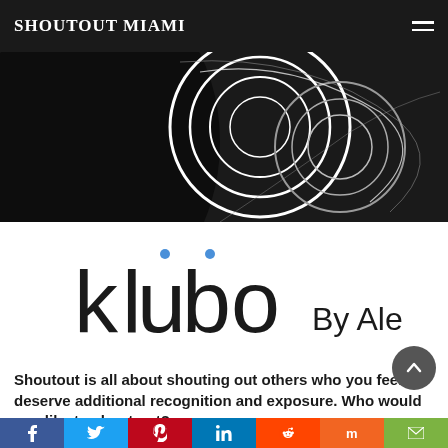SHOUTOUT MIAMI
[Figure (illustration): Abstract black and white circular swirling pattern with overlapping rings on dark background]
[Figure (logo): Klubo By Ale logo — stylized lowercase lettering with two blue dots above the u and b]
Shoutout is all about shouting out others who you feel deserve additional recognition and exposure. Who would you like to shout out?
f  (Twitter)  p  in  (Reddit)  m  (email)